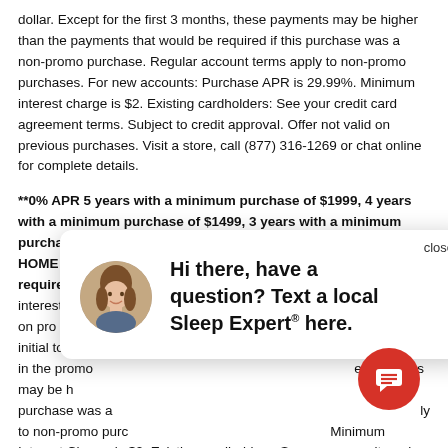dollar. Except for the first 3 months, these payments may be higher than the payments that would be required if this purchase was a non-promo purchase. Regular account terms apply to non-promo purchases. For new accounts: Purchase APR is 29.99%. Minimum interest charge is $2. Existing cardholders: See your credit card agreement terms. Subject to credit approval. Offer not valid on previous purchases. Visit a store, call (877) 316-1269 or chat online for complete details.
**0% APR 5 years with a minimum purchase of $1999, 4 years with a minimum purchase of $1499, 3 years with a minimum purchase of $999 on your Mattress Firm or any Synchrony HOME credit card. 60, 48, or 36 equal monthly payments required. Qualifying purchase amount must be on one receipt. No interest will be charged, and equal monthly payments are required on promo purchase until paid in full. The payments will equal the initial total promo purchase amount divided by the number of months in the promo period. Except for the first 3 months, these payments may be higher than the payments that would be required if this purchase was a non-promo purchase. Regular account terms apply to non-promo purchases. Minimum Interest Charge is $2. Existing cardholders: See your credit card agreement terms. Visit a store or see mattressfirm.com for complete details.
**0% APR 6 years with a minimum purchase of $2999, 5 years with a minimum purchase of $1999, 4 years with a minimum purchase of $1499,